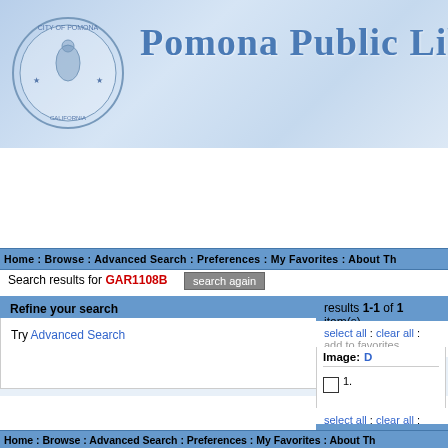[Figure (screenshot): Pomona Public Library website header with city seal on the left and 'Pomona Public Lib' text on the right on a light blue gradient background]
[Figure (screenshot): Search input area with light yellow search box]
Home : Browse : Advanced Search : Preferences : My Favorites : About Th
Search results for GAR1108B  search again
Refine your search
Try Advanced Search
results 1-1 of 1 item(s)
select all : clear all : add to favorites
Image: D
1.
select all : clear all : add to favorites
results 1-1 of 1 item(s)
Home : Browse : Advanced Search : Preferences : My Favorites : About Th